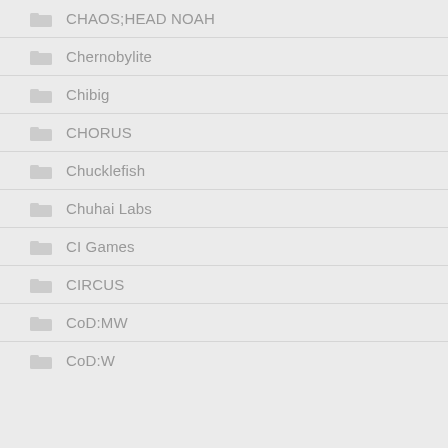CHAOS;HEAD NOAH
Chernobylite
Chibig
CHORUS
Chucklefish
Chuhai Labs
CI Games
CIRCUS
CoD:MW
CoD:W